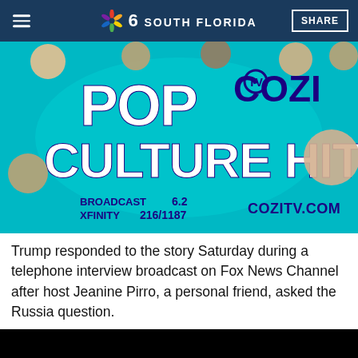NBC 6 South Florida | SHARE
[Figure (illustration): COZI TV advertisement banner: 'POP COZI TV CULTURE HITS - BROADCAST 6.2 XFINITY 216/1187 - COZITV.COM' on teal background with pop culture character faces]
Trump responded to the story Saturday during a telephone interview broadcast on Fox News Channel after host Jeanine Pirro, a personal friend, asked the Russia question.
[Figure (screenshot): Black video thumbnail/player area]